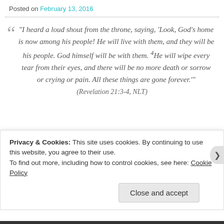Posted on February 13, 2016
“I heard a loud shout from the throne, saying, ‘Look, God’s home is now among his people! He will live with them, and they will be his people. God himself will be with them. ⁴He will wipe every tear from their eyes, and there will be no more death or sorrow or crying or pain. All these things are gone forever.’”
(Revelation 21:3-4, NLT)
Privacy & Cookies: This site uses cookies. By continuing to use this website, you agree to their use.
To find out more, including how to control cookies, see here: Cookie Policy
Close and accept